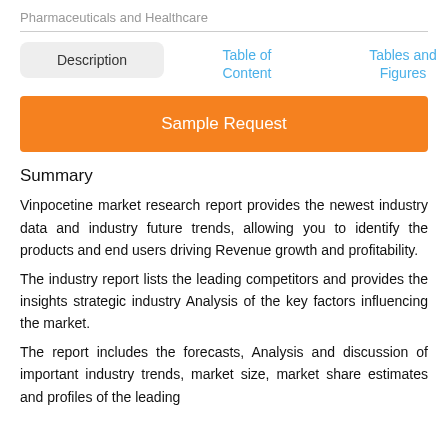Pharmaceuticals and Healthcare
Description
Table of Content
Tables and Figures
Sample Request
Summary
Vinpocetine market research report provides the newest industry data and industry future trends, allowing you to identify the products and end users driving Revenue growth and profitability.
The industry report lists the leading competitors and provides the insights strategic industry Analysis of the key factors influencing the market.
The report includes the forecasts, Analysis and discussion of important industry trends, market size, market share estimates and profiles of the leading